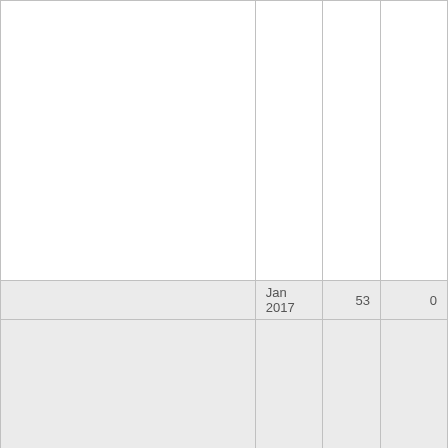|  |  |  |  |
| --- | --- | --- | --- |
|  |  |  |  |
| Jan 2017 | 53 | 0 |  |
|  |  |  |  |
| Dec 2016 | 89 | 0 |  |